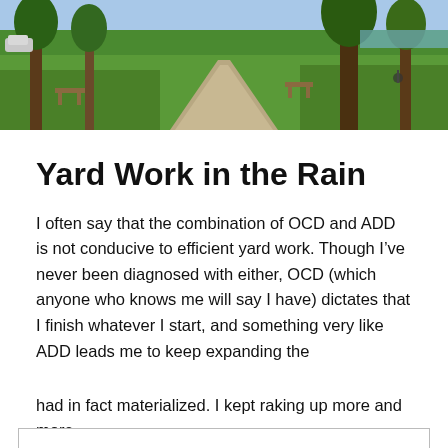[Figure (photo): Outdoor park scene with green grass, tall trees, a concrete pathway, and benches. Blue sky visible in background.]
Yard Work in the Rain
I often say that the combination of OCD and ADD is not conducive to efficient yard work. Though I've never been diagnosed with either, OCD (which anyone who knows me will say I have) dictates that I finish whatever I start, and something very like ADD leads me to keep expanding the
Privacy & Cookies: This site uses cookies. By continuing to use this website, you agree to their use.
To find out more, including how to control cookies, see here: Cookie Policy
had in fact materialized. I kept raking up more and more